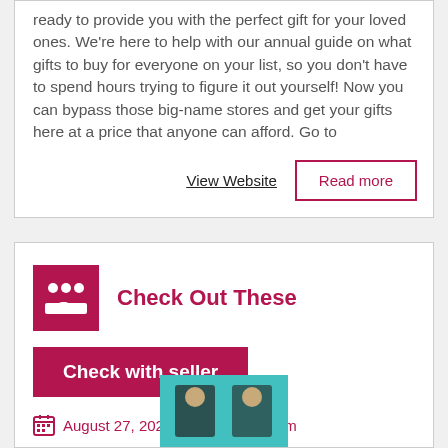ready to provide you with the perfect gift for your loved ones. We're here to help with our annual guide on what gifts to buy for everyone on your list, so you don't have to spend hours trying to figure it out yourself! Now you can bypass those big-name stores and get your gifts here at a price that anyone can afford. Go to
View Website
Read more
Check Out These
Check with seller
August 27, 2022
Pipestem